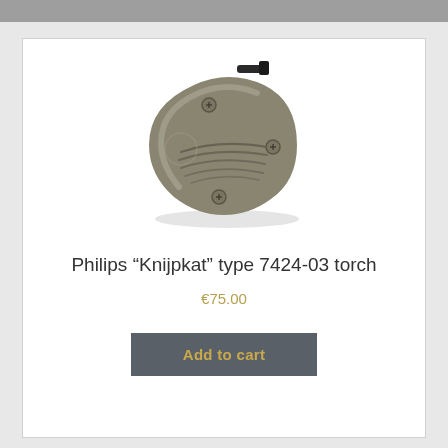[Figure (photo): Philips Knijpkat type 7424-03 torch - a metallic teardrop-shaped squeeze torch with ribbed grooves and three visible screws, dark clip at top]
Philips “Knijpkat” type 7424-03 torch
€75.00
Add to cart